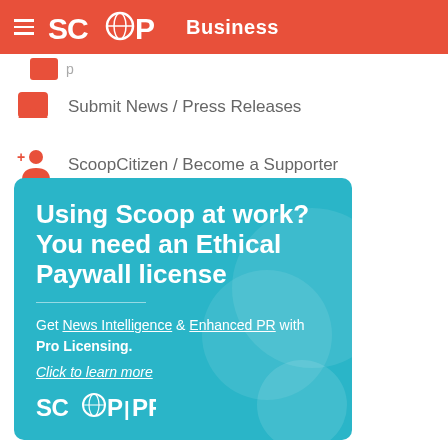SCOOP Business
Submit News / Press Releases
ScoopCitizen / Become a Supporter
[Figure (infographic): Teal promotional card for Scoop Pro licensing with text: Using Scoop at work? You need an Ethical Paywall license. Get News Intelligence & Enhanced PR with Pro Licensing. Click to learn more. SCOOP PRO logo at bottom.]